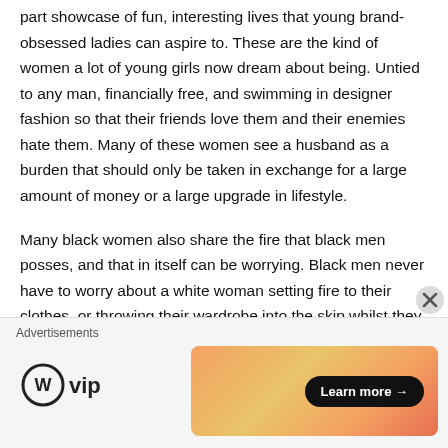part showcase of fun, interesting lives that young brand-obsessed ladies can aspire to. These are the kind of women a lot of young girls now dream about being. Untied to any man, financially free, and swimming in designer fashion so that their friends love them and their enemies hate them. Many of these women see a husband as a burden that should only be taken in exchange for a large amount of money or a large upgrade in lifestyle.

Many black women also share the fire that black men posses, and that in itself can be worrying. Black men never have to worry about a white woman setting fire to their clothes, or throwing their wardrobe into the skip whilst they are at
Advertisements
[Figure (logo): WordPress VIP logo — circle W icon followed by 'vip' text]
[Figure (screenshot): Orange/coral gradient advertisement banner with a black 'Learn more →' button]